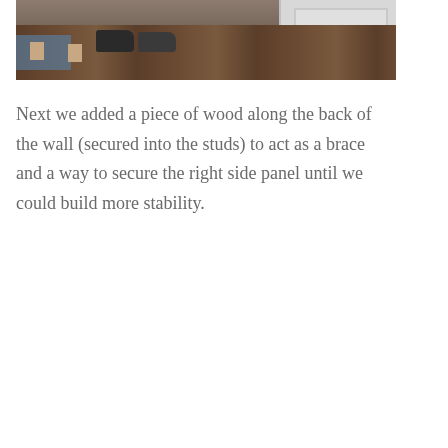[Figure (photo): Partial photo showing a person's feet/shoes standing on dark wood laminate flooring near a white door or wall panel, with a blue rug visible at the edge.]
Next we added a piece of wood along the back of the wall (secured into the studs) to act as a brace and a way to secure the right side panel until we could build more stability.